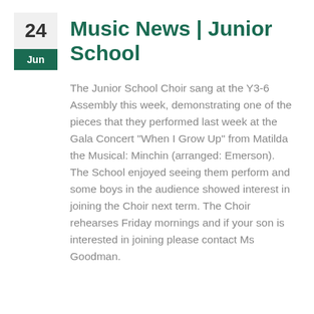Music News | Junior School
The Junior School Choir sang at the Y3-6 Assembly this week, demonstrating one of the pieces that they performed last week at the Gala Concert "When I Grow Up" from Matilda the Musical: Minchin (arranged: Emerson). The School enjoyed seeing them perform and some boys in the audience showed interest in joining the Choir next term. The Choir rehearses Friday mornings and if your son is interested in joining please contact Ms Goodman.